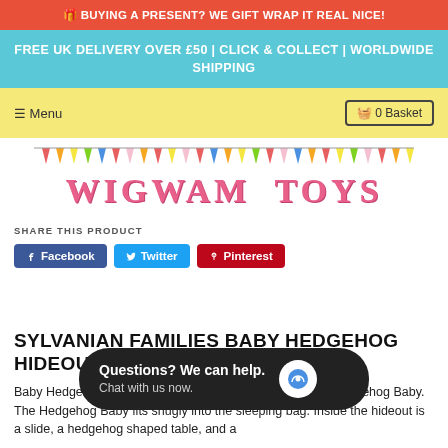🎁 BUYING A PRESENT? WE GIFT WRAP IT REAL NICE!
FREE UK DELIVERY OVER £50 | CLICK & COLLECT | WORLDWIDE SHIPPING
☰ Menu   🧺 0 Basket
[Figure (logo): Wigwam Toys logo with colorful bunting triangles above pink block lettering reading WIGWAM TOYS]
SHARE THIS PRODUCT
Facebook   Twitter   Pinterest
SYLVANIAN FAMILIES BABY HEDGEHOG HIDEOUT
Baby Hedgehog Hideout is a hedgehog motif house for a Hedgehog Baby. The Hedgehog Baby fits snugly into the sleeping bag. Inside the hideout is a slide, a hedgehog shaped table, and a